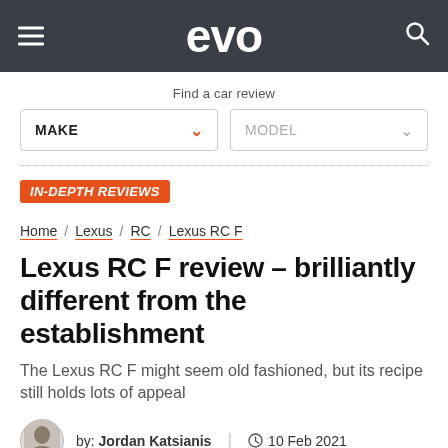evo
Find a car review
MAKE  MODEL
IN-DEPTH REVIEWS
Home / Lexus / RC / Lexus RC F
Lexus RC F review – brilliantly different from the establishment
The Lexus RC F might seem old fashioned, but its recipe still holds lots of appeal
by: Jordan Katsianis  |  10 Feb 2021